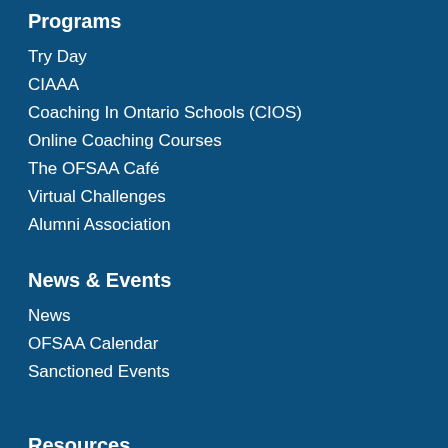Programs
Try Day
CIAAA
Coaching In Ontario Schools (CIOS)
Online Coaching Courses
The OFSAA Café
Virtual Challenges
Alumni Association
News & Events
News
OFSAA Calendar
Sanctioned Events
Resources